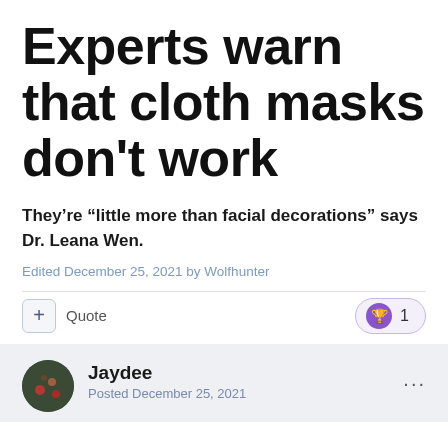Experts warn that cloth masks don't work
They're “little more than facial decorations” says Dr. Leana Wen.
Edited December 25, 2021 by Wolfhunter
Jaydee
Posted December 25, 2021